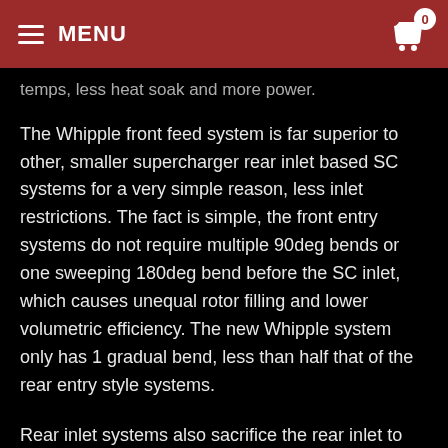MENU | 0
temps, less heat soak and more power.
The Whipple front feed system is far superior to other, smaller supercharger rear inlet based SC systems for a very simple reason, less inlet restrictions. The fact is simple, the front entry systems do not require multiple 90deg bends or one sweeping 180deg bend before the SC inlet, which causes unequal rotor filling and lower volumetric efficiency. The new Whipple system only has 1 gradual bend, less than half that of the rear entry style systems.
Rear inlet systems also sacrifice the rear inlet to clear the firewall in most cases, or there's a big